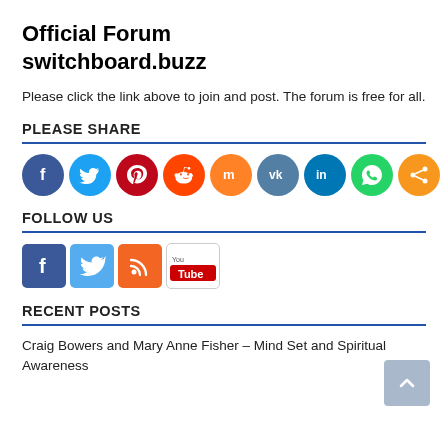Official Forum switchboard.buzz
Please click the link above to join and post. The forum is free for all.
PLEASE SHARE
[Figure (infographic): Row of 9 social sharing circle icons: Facebook (dark blue), Twitter (light blue), Pinterest (red), Reddit (orange-red), Mix (orange), VK (steel blue), LinkedIn (dark blue), WhatsApp (green), Share (orange)]
FOLLOW US
[Figure (infographic): Row of 4 social follow icons: Facebook (blue square with f), Twitter (blue bird), RSS (orange feed icon), YouTube (red/white YouTube logo)]
RECENT POSTS
Craig Bowers and Mary Anne Fisher – Mind Set and Spiritual Awareness